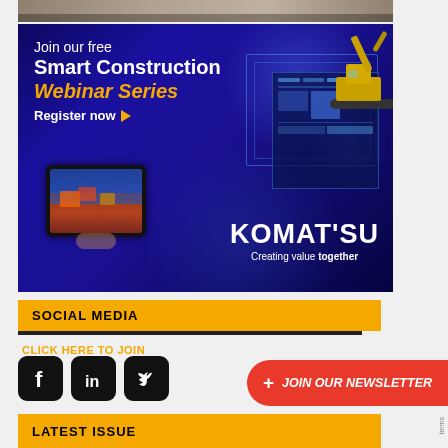[Figure (photo): Partial top strip showing a construction/industrial scene]
[Figure (infographic): Komatsu advertisement banner: 'Join our free Smart Construction Webinar Series – Register now' with Komatsu logo and 'Creating value together' tagline, on a dark blue background with construction equipment imagery and a tablet showing terrain mapping]
SOCIAL MEDIA
CLICK HERE TO JOIN
[Figure (logo): Social media icons: Facebook, LinkedIn, Twitter on dark square backgrounds]
+ JOIN OUR NEWSLETTER
LATEST ISSUE